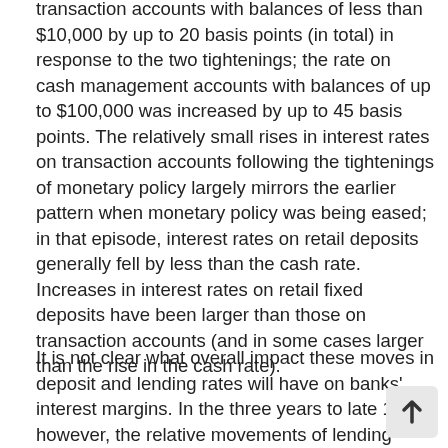transaction accounts with balances of less than $10,000 by up to 20 basis points (in total) in response to the two tightenings; the rate on cash management accounts with balances of up to $100,000 was increased by up to 45 basis points. The relatively small rises in interest rates on transaction accounts following the tightenings of monetary policy largely mirrors the earlier pattern when monetary policy was being eased; in that episode, interest rates on retail deposits generally fell by less than the cash rate. Increases in interest rates on retail fixed deposits have been larger than those on transaction accounts (and in some cases larger than the rise in the cash rate).
It is not clear what overall impact these moves in deposit and lending rates will have on banks' interest margins. In the three years to late 1999, however, the relative movements of lending rates and deposit rates